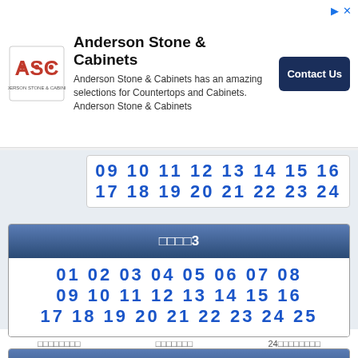[Figure (logo): Anderson Stone & Cabinets advertisement banner with ASC logo, contact button]
09 10 11 12 13 14 15 16
17 18 19 20 21 22 23 24
□□□□3
01 02 03 04 05 06 07 08
09 10 11 12 13 14 15 16
17 18 19 20 21 22 23 24 25
□□□□4
□□□□□□□□   □□□□□□□   24□□□□□□□□